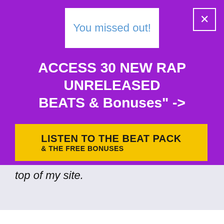You missed out!
ACCESS 30 NEW RAP UNRELEASED BEATS & Bonuses" ->
LISTEN TO THE BEAT PACK & THE FREE BONUSES
top of my site.